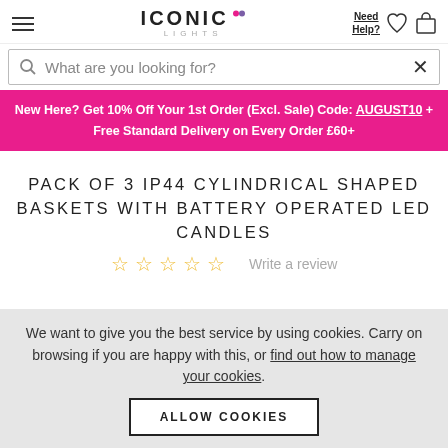ICONIC LIGHTS — Need Help? navigation header with hamburger menu, wishlist and cart icons
What are you looking for?
New Here? Get 10% Off Your 1st Order (Excl. Sale) Code: AUGUST10 + Free Standard Delivery on Every Order £60+
PACK OF 3 IP44 CYLINDRICAL SHAPED BASKETS WITH BATTERY OPERATED LED CANDLES
Write a review
We want to give you the best service by using cookies. Carry on browsing if you are happy with this, or find out how to manage your cookies.
ALLOW COOKIES